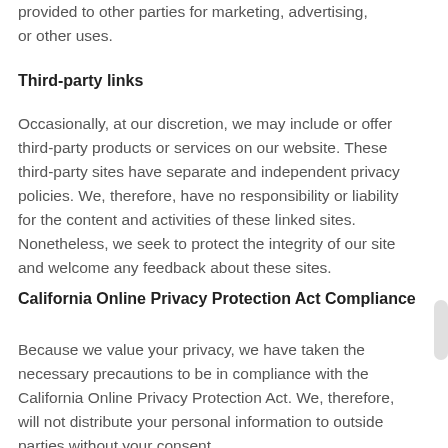provided to other parties for marketing, advertising, or other uses.
Third-party links
Occasionally, at our discretion, we may include or offer third-party products or services on our website. These third-party sites have separate and independent privacy policies. We, therefore, have no responsibility or liability for the content and activities of these linked sites. Nonetheless, we seek to protect the integrity of our site and welcome any feedback about these sites.
California Online Privacy Protection Act Compliance
Because we value your privacy, we have taken the necessary precautions to be in compliance with the California Online Privacy Protection Act. We, therefore, will not distribute your personal information to outside parties without your consent.